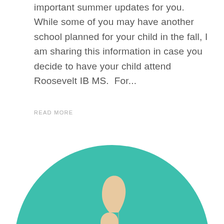important summer updates for you.  While some of you may have another school planned for your child in the fall, I am sharing this information in case you decide to have your child attend Roosevelt IB MS.  For...
READ MORE
[Figure (illustration): A flat-style illustration of a thumbs-up hand with a peach/skin-tone hand and dark sleeve, centered on a teal circular background.]